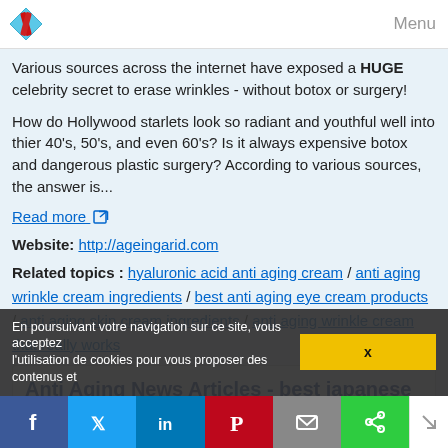Menu
Various sources across the internet have exposed a HUGE celebrity secret to erase wrinkles - without botox or surgery!
How do Hollywood starlets look so radiant and youthful well into thier 40's, 50's, and even 60's? Is it always expensive botox and dangerous plastic surgery? According to various sources, the answer is...
Read more
Website: http://ageingarid.com
Related topics : hyaluronic acid anti aging cream / anti aging wrinkle cream ingredients / best anti aging eye cream products / anti aging skin cream ingredients / anti aging wrinkle cream that really works
Anti Aging News Articles - best japanese skin products
En poursuivant votre navigation sur ce site, vous acceptez l'utilisation de cookies pour vous proposer des contenus et
X